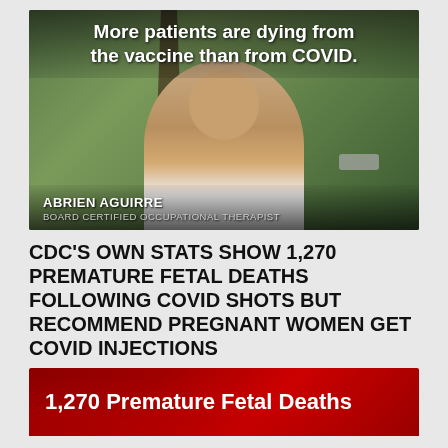[Figure (screenshot): Video thumbnail showing a man (Abrien Aguirre, Board Certified Occupational Therapist) standing outdoors near a tree with green park background. Text overlay reads: 'More patients are dying from the vaccine than from COVID.' Name and title shown at bottom left.]
CDC'S OWN STATS SHOW 1,270 PREMATURE FETAL DEATHS FOLLOWING COVID SHOTS BUT RECOMMEND PREGNANT WOMEN GET COVID INJECTIONS
[Figure (screenshot): Dark red banner with white text reading '1,270 Premature Fetal Deaths']